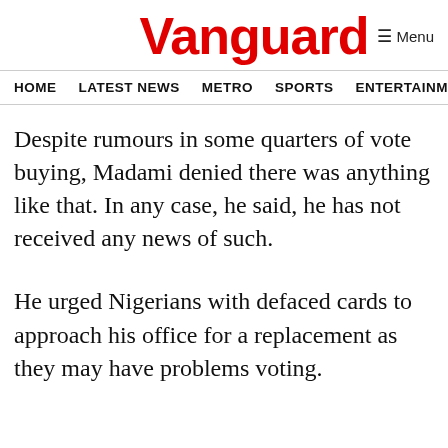Vanguard
HOME  LATEST NEWS  METRO  SPORTS  ENTERTAINMENT  VIDEOS
Despite rumours in some quarters of vote buying, Madami denied there was anything like that. In any case, he said, he has not received any news of such.
He urged Nigerians with defaced cards to approach his office for a replacement as they may have problems voting.